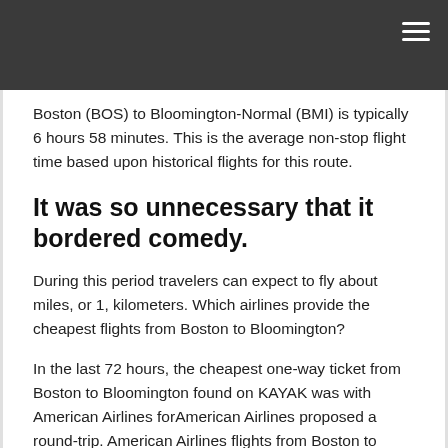Boston (BOS) to Bloomington-Normal (BMI) is typically 6 hours 58 minutes. This is the average non-stop flight time based upon historical flights for this route.
It was so unnecessary that it bordered comedy.
During this period travelers can expect to fly about miles, or 1, kilometers. Which airlines provide the cheapest flights from Boston to Bloomington?
In the last 72 hours, the cheapest one-way ticket from Boston to Bloomington found on KAYAK was with American Airlines forAmerican Airlines proposed a round-trip. American Airlines flights from Boston to Bloomington (BOS → BMI) Prices